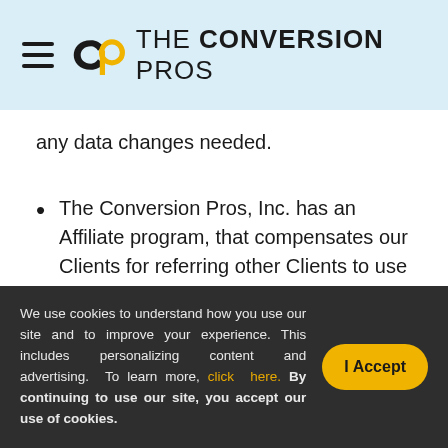THE CONVERSION PROS
any data changes needed.
The Conversion Pros, Inc. has an Affiliate program, that compensates our Clients for referring other Clients to use our services. The referred Client
We use cookies to understand how you use our site and to improve your experience. This includes personalizing content and advertising. To learn more, click here. By continuing to use our site, you accept our use of cookies.